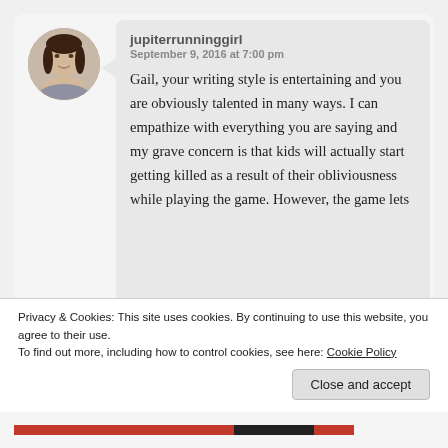[Figure (photo): Circular avatar photo of a woman with dark hair, grey/blue top, white background]
jupiterrunninggirl
September 9, 2016 at 7:00 pm
Gail, your writing style is entertaining and you are obviously talented in many ways. I can empathize with everything you are saying and my grave concern is that kids will actually start getting killed as a result of their obliviousness while playing the game. However, the game lets
Advertisements
Privacy & Cookies: This site uses cookies. By continuing to use this website, you agree to their use.
To find out more, including how to control cookies, see here: Cookie Policy
Close and accept